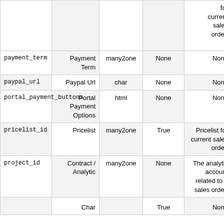|  |  |  |  | for current sales order. |
| payment_term | Payment Term | many2one | None | None |
| paypal_url | Paypal Url | char | None | None |
| portal_payment_buttons | Portal Payment Options | html | None | None |
| pricelist_id | Pricelist | many2one | True | Pricelist for current sales order. |
| project_id | Contract / Analytic | many2one | None | The analytic account related to a sales order. |
| ... | Char | ... | True | None |